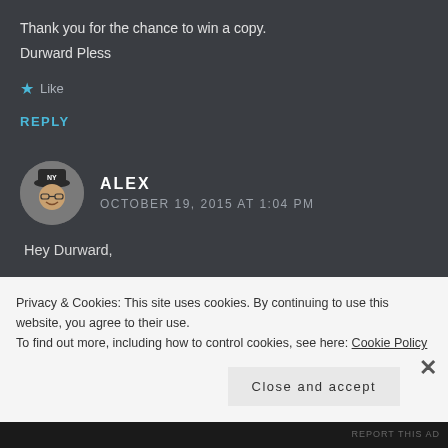Thank you for the chance to win a copy.
Durward Pless
★ Like
REPLY
[Figure (photo): Circular avatar photo of Alex, a man wearing a cap and glasses, smiling]
ALEX
OCTOBER 19, 2015 AT 1:04 PM
Hey Durward,
Yes, you are one of the earliest “insiders”. Definitely
Privacy & Cookies: This site uses cookies. By continuing to use this website, you agree to their use.
To find out more, including how to control cookies, see here: Cookie Policy
Close and accept